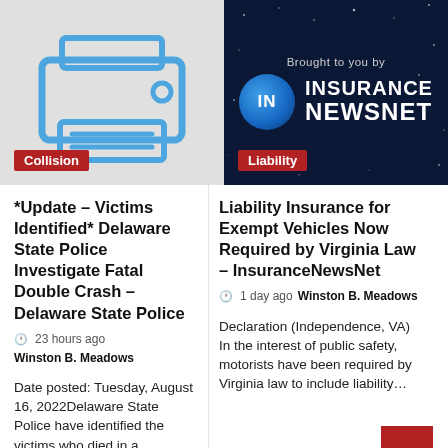[Figure (illustration): Printer icon illustration on light gray background with blue line art]
Collision
[Figure (advertisement): Insurance NewsNet advertisement with dark blue starry background, globe logo, and white bold text]
Liability
*Update – Victims Identified* Delaware State Police Investigate Fatal Double Crash – Delaware State Police
23 hours ago  Winston B. Meadows
Date posted: Tuesday, August 16, 2022Delaware State Police have identified the victims who died in a
Liability Insurance for Exempt Vehicles Now Required by Virginia Law – InsuranceNewsNet
1 day ago  Winston B. Meadows
Declaration (Independence, VA) In the interest of public safety, motorists have been required by Virginia law to include liability…